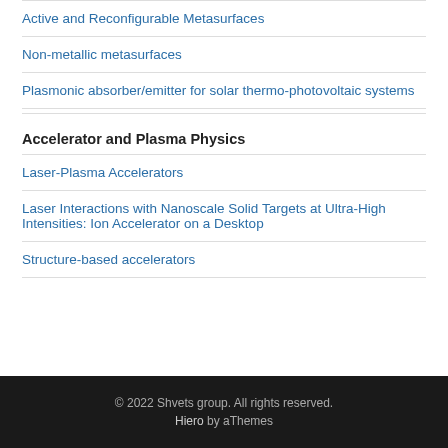Active and Reconfigurable Metasurfaces
Non-metallic metasurfaces
Plasmonic absorber/emitter for solar thermo-photovoltaic systems
Accelerator and Plasma Physics
Laser-Plasma Accelerators
Laser Interactions with Nanoscale Solid Targets at Ultra-High Intensities: Ion Accelerator on a Desktop
Structure-based accelerators
© 2022 Shvets group. All rights reserved. Hiero by aThemes